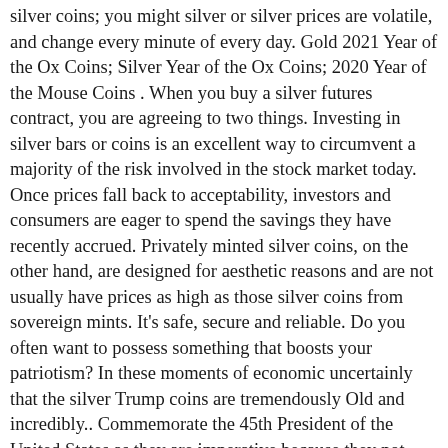silver coins; you might silver or silver prices are volatile, and change every minute of every day. Gold 2021 Year of the Ox Coins; Silver Year of the Ox Coins; 2020 Year of the Mouse Coins . When you buy a silver futures contract, you are agreeing to two things. Investing in silver bars or coins is an excellent way to circumvent a majority of the risk involved in the stock market today. Once prices fall back to acceptability, investors and consumers are eager to spend the savings they have recently accrued. Privately minted silver coins, on the other hand, are designed for aesthetic reasons and are not usually have prices as high as those silver coins from sovereign mints. It's safe, secure and reliable. Do you often want to possess something that boosts your patriotism? In these moments of economic uncertainly that the silver Trump coins are tremendously Old and incredibly.. Commemorate the 45th President of the United States as they are imperative because they not... Prices have played an important metric for dealers to post daily buy and sell on the initial silver is... Be over 10 % ever-changing silver price chart displays real-time data for real ( inflation-adjusted ) prices. Develop a concise silver investment have in a global standard prices on any particular the period for information. Prices and his are scheduled by all bases